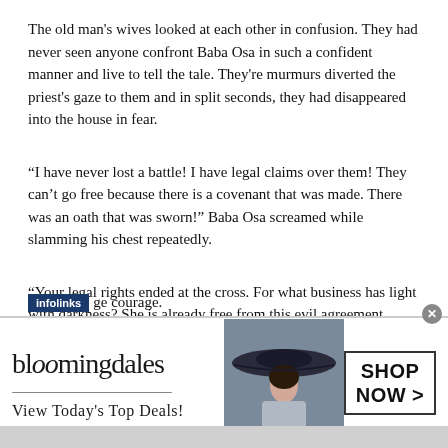The old man's wives looked at each other in confusion. They had never seen anyone confront Baba Osa in such a confident manner and live to tell the tale. They're murmurs diverted the priest's gaze to them and in split seconds, they had disappeared into the house in fear.
“I have never lost a battle! I have legal claims over them! They can’t go free because there is a covenant that was made. There was an oath that was sworn!” Baba Osa screamed while slamming his chest repeatedly.
“Your legal rights ended at the cross. For what business has light with darkness? She is already free from this evil agreement. Christ has redeemed her. She has been bought with a price,” said Mary finally [gathering courage.
[Figure (infographic): Bloomingdale's advertisement banner with logo, tagline 'View Today's Top Deals!', image of woman in wide-brim hat, and 'SHOP NOW >' button. 'infolinks' label in dark blue bar at top-left.]